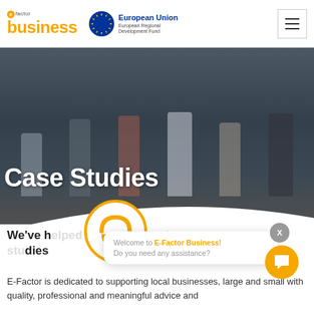e factor business | European Union European Regional Development Fund
[Figure (photo): Group of people standing in front of a brick building courtyard, some wearing aprons, dark overlay background with 'Case Studies' title overlaid]
Case Studies
[Figure (logo): E-Factor circular logo in orange and white]
Welcome to E-Factor Business! Do you need any assistance?
We've helped countless businesses, see our case studies
E-Factor is dedicated to supporting local businesses, large and small with quality, professional and meaningful advice and